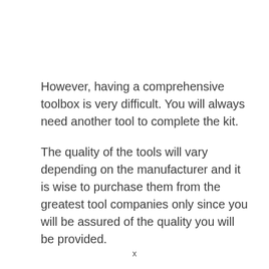However, having a comprehensive toolbox is very difficult. You will always need another tool to complete the kit.
The quality of the tools will vary depending on the manufacturer and it is wise to purchase them from the greatest tool companies only since you will be assured of the quality you will be provided.
x